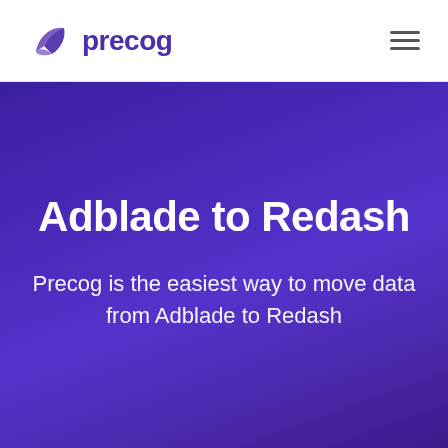[Figure (logo): Precog logo: purple stylized wing/ribbon icon followed by the word 'precog' in purple bold text]
Adblade to Redash
Precog is the easiest way to move data from Adblade to Redash